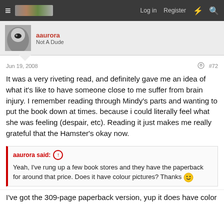≡  [logo]  Log in  Register  ⚡  🔍
aaurora
Not A Dude
Jun 19, 2008   #72
It was a very riveting read, and definitely gave me an idea of what it's like to have someone close to me suffer from brain injury. I remember reading through Mindy's parts and wanting to put the book down at times. because i could literally feel what she was feeling (despair, etc). Reading it just makes me really grateful that the Hamster's okay now.
aaurora said: ↑
Yeah, I've rung up a few book stores and they have the paperback for around that price. Does it have colour pictures? Thanks 🙂
I've got the 309-page paperback version, yup it does have color